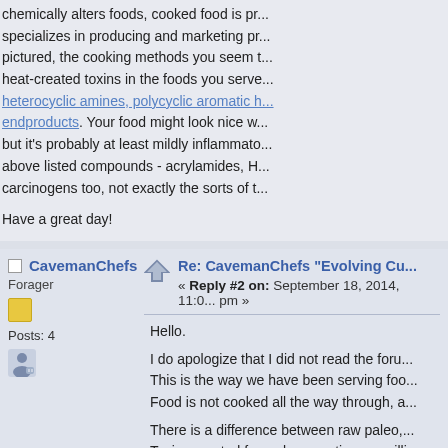chemically alters foods, cooked food is pr... specializes in producing and marketing pr... pictured, the cooking methods you seem t... heat-created toxins in the foods you serve... heterocyclic amines, polycyclic aromatic h... endproducts. Your food might look nice w... but it's probably at least mildly inflammato... above listed compounds - acrylamides, H... carcinogens too, not exactly the sorts of t...
Have a great day!
CavemanChefs
Forager
Posts: 4
Re: CavemanChefs "Evolving Cu...
« Reply #2 on: September 18, 2014, 11:0... pm »
Hello.
I do apologize that I did not read the foru...
This is the way we have been serving foo...
Food is not cooked all the way through, a...

There is a difference between raw paleo,...
Toxins created from slow roasting, or grilli...
per say.